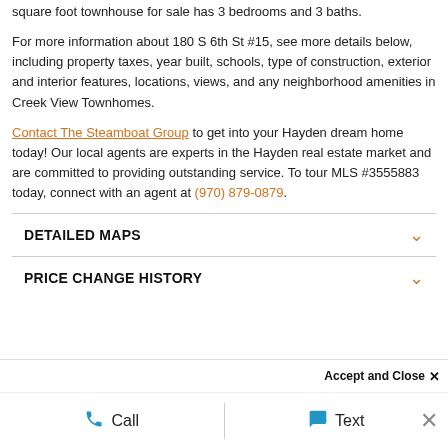square foot townhouse for sale has 3 bedrooms and 3 baths.
For more information about 180 S 6th St #15, see more details below, including property taxes, year built, schools, type of construction, exterior and interior features, locations, views, and any neighborhood amenities in Creek View Townhomes.
Contact The Steamboat Group to get into your Hayden dream home today! Our local agents are experts in the Hayden real estate market and are committed to providing outstanding service. To tour MLS #3555883 today, connect with an agent at (970) 879-0879.
DETAILED MAPS
PRICE CHANGE HISTORY
Accept and Close ✕
Call
Text